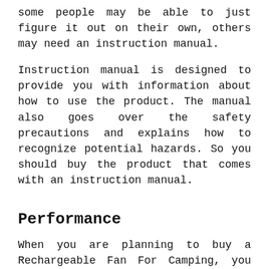some people may be able to just figure it out on their own, others may need an instruction manual.
Instruction manual is designed to provide you with information about how to use the product. The manual also goes over the safety precautions and explains how to recognize potential hazards. So you should buy the product that comes with an instruction manual.
Performance
When you are planning to buy a Rechargeable Fan For Camping, you will definitely think of its performance because nobody wants to waste his money buying a wrong product. So,